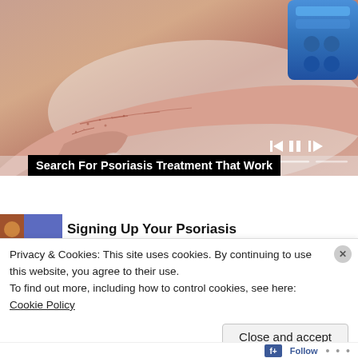[Figure (screenshot): Video player showing a hand with psoriasis skin condition being treated with a medical device. Video playback controls (skip-back, pause, skip-forward) and a progress bar are visible at the bottom.]
Search For Psoriasis Treatment That Work
[Figure (photo): Partial thumbnail image of an article, showing a colored image and partially visible article title text.]
Privacy & Cookies: This site uses cookies. By continuing to use this website, you agree to their use.
To find out more, including how to control cookies, see here: Cookie Policy
Close and accept